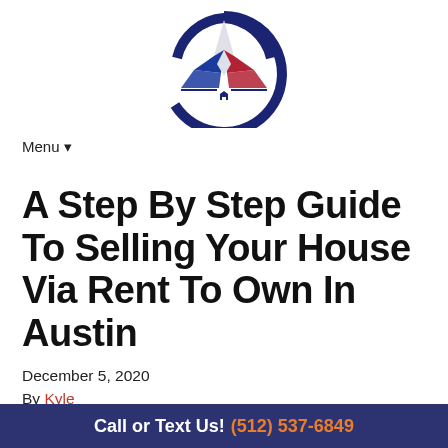[Figure (logo): Texas star logo with red, white, and blue geometric shapes forming a star inside a dark blue circular arc, with a small house icon at the bottom center]
Menu ▾
A Step By Step Guide To Selling Your House Via Rent To Own In Austin
December 5, 2020
By Kyle
Selling your house in Austin with a rent to own agreement can be the best way to sell fast for the pric…
Call or Text Us! (512) 537-6849